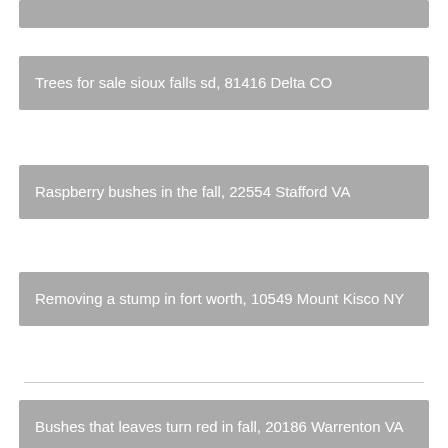Trees for sale sioux falls sd, 81416 Delta CO
Raspberry bushes in the fall, 22554 Stafford VA
Removing a stump in fort worth, 10549 Mount Kisco NY
Bushes that leaves turn red in fall, 20186 Warrenton VA
Fall flowering shrubs new england, 2066 Scituate MA
Buy a stump grinder near 06880, 2420 Lexington MA